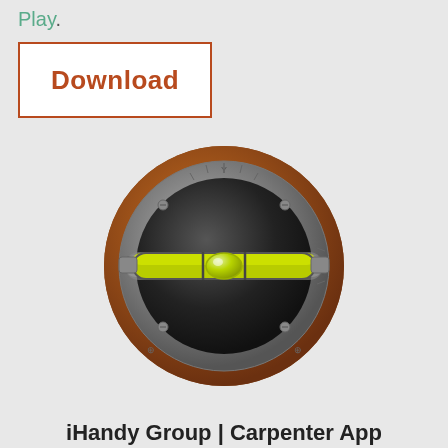Play.
Download
[Figure (illustration): Circular app icon of a carpenter level / spirit level tool. The icon has a brown wooden outer ring, a metallic/steel inner ring with markings and tick marks (Y at top, X on right, scale markings), and a dark circular interior showing a horizontal spirit level vial with green/yellow liquid and a bubble centered between two lines.]
iHandy Group | Carpenter App